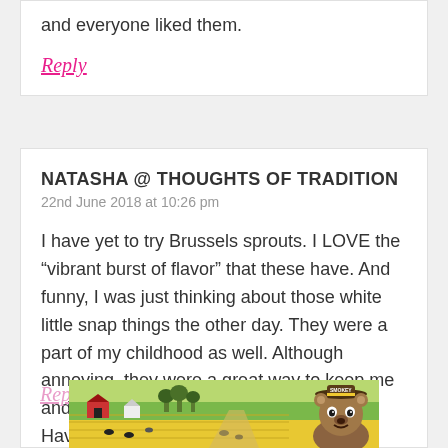and everyone liked them.
Reply
NATASHA @ THOUGHTS OF TRADITION
22nd June 2018 at 10:26 pm
I have yet to try Brussels sprouts. I LOVE the “vibrant burst of flavor” that these have. And funny, I was just thinking about those white little snap things the other day. They were a part of my childhood as well. Although annoying, they were a great way to keep me and my brother entertained.
Have a wonderful weekend.
Rep...
[Figure (illustration): Smokey Bear advertisement banner showing a rural farm landscape with yellow fields, red barns, trees, cattle, and Smokey Bear character with a ranger hat on the right side.]